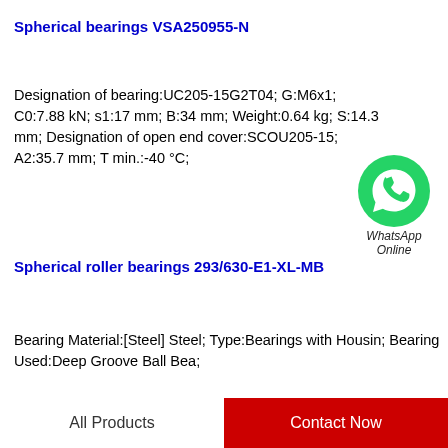Spherical bearings VSA250955-N
Designation of bearing:UC205-15G2T04; G:M6x1; C0:7.88 kN; s1:17 mm; B:34 mm; Weight:0.64 kg; S:14.3 mm; Designation of open end cover:SCOU205-15; A2:35.7 mm; T min.:-40 °C;
[Figure (logo): WhatsApp Online green phone icon with label 'WhatsApp Online']
Spherical roller bearings 293/630-E1-XL-MB
Bearing Material:[Steel] Steel; Type:Bearings with Housin; Bearing Used:Deep Groove Ball Bea;
All Products    Contact Now